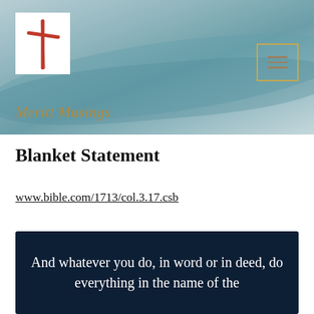[Figure (logo): White background logo box with a red hand-drawn cross, positioned in upper-left of header banner]
Meritt Musings
Blanket Statement
www.bible.com/1713/col.3.17.csb
[Figure (illustration): Dark navy blue box with white text: 'And whatever you do, in word or in deed, do everything in the name of the']